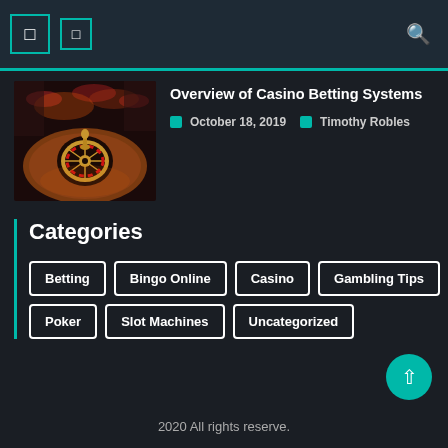Navigation header with icons and search
Overview of Casino Betting Systems
October 18, 2019   Timothy Robles
[Figure (photo): Casino interior with roulette table]
Categories
Betting
Bingo Online
Casino
Gambling Tips
Poker
Slot Machines
Uncategorized
2020 All rights reserve.